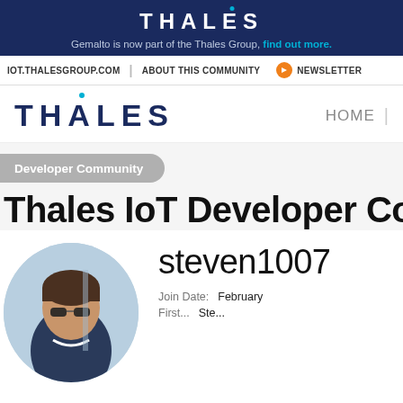THALES
Gemalto is now part of the Thales Group, find out more.
IOT.THALESGROUP.COM | ABOUT THIS COMMUNITY | NEWSLETTER
[Figure (logo): Thales logo with blue dot above A]
HOME
Developer Community
Thales IoT Developer Commu...
steven1007
Join Date:    February
[Figure (photo): Circular profile photo of a person with sunglasses outdoors]